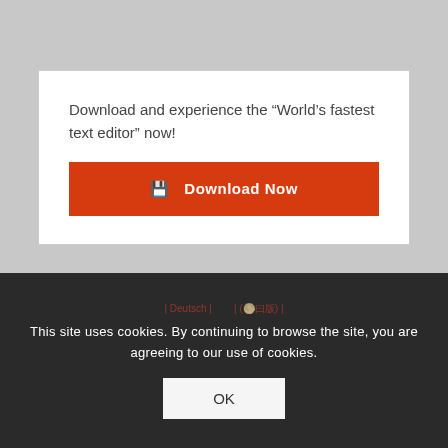Download and experience the “World’s fastest text editor” now!
[Figure (other): Orange 'Download Now' button with download icon]
Copyright © 1995-2022 by Emurasoft, Inc.
Download | Buy Now | Features | Forums | Blog | Library | Support | About us | Privacy Policy
This site uses cookies. By continuing to browse the site, you are agreeing to our use of cookies.
OK